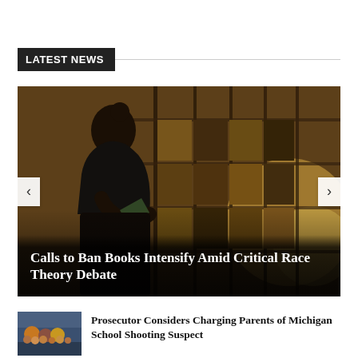LATEST NEWS
[Figure (photo): Silhouette of a person reading a book in front of a bookshelf with warm amber lighting]
Calls to Ban Books Intensify Amid Critical Race Theory Debate
[Figure (photo): Thumbnail image of children at what appears to be a school or public gathering]
Prosecutor Considers Charging Parents of Michigan School Shooting Suspect